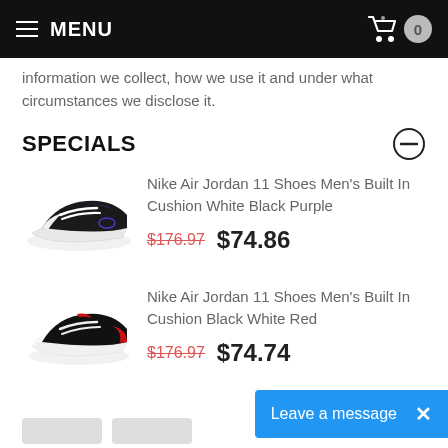MENU | Cart 0
information we collect, how we use it and under what circumstances we disclose it.
SPECIALS
[Figure (photo): Nike Air Jordan 11 Shoes Men's Built In Cushion White Black Purple sneaker product image]
Nike Air Jordan 11 Shoes Men's Built In Cushion White Black Purple $176.97 $74.86
[Figure (photo): Nike Air Jordan 11 Shoes Men's Built In Cushion Black White Red sneaker product image]
Nike Air Jordan 11 Shoes Men's Built In Cushion Black White Red $176.97 $74.74